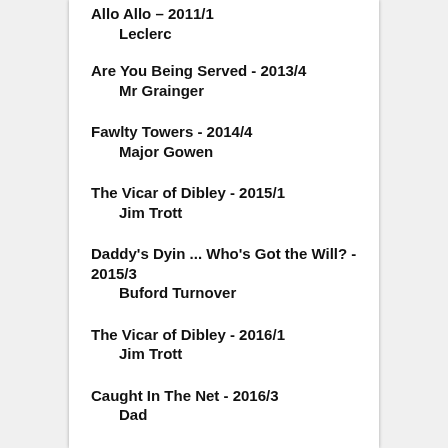Allo Allo – 2011/1
    Leclerc
Are You Being Served - 2013/4
    Mr Grainger
Fawlty Towers - 2014/4
    Major Gowen
The Vicar of Dibley - 2015/1
    Jim Trott
Daddy's Dyin ... Who's Got the Will? - 2015/3
    Buford Turnover
The Vicar of Dibley - 2016/1
    Jim Trott
Caught In The Net - 2016/3
    Dad